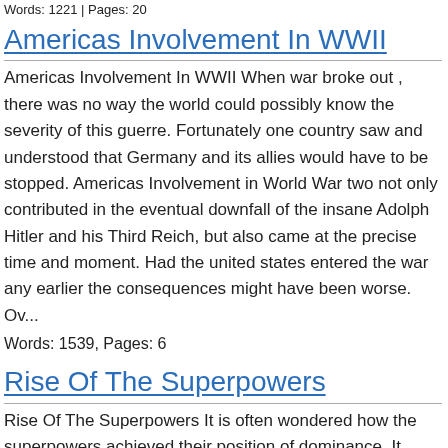Words: 1221 | Pages: 20
Americas Involvement In WWII
Americas Involvement In WWII When war broke out , there was no way the world could possibly know the severity of this guerre. Fortunately one country saw and understood that Germany and its allies would have to be stopped. Americas Involvement in World War two not only contributed in the eventual downfall of the insane Adolph Hitler and his Third Reich, but also came at the precise time and moment. Had the united states entered the war any earlier the consequences might have been worse. Ov...
Words: 1539, Pages: 6
Rise Of The Superpowers
Rise Of The Superpowers It is often wondered how the superpowers achieved their position of dominance. It seems